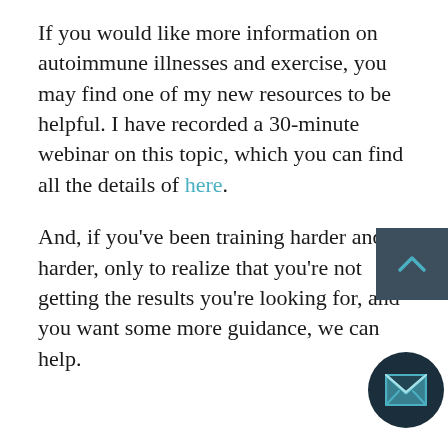If you would like more information on autoimmune illnesses and exercise, you may find one of my new resources to be helpful. I have recorded a 30-minute webinar on this topic, which you can find all the details of here.
And, if you've been training harder and harder, only to realize that you're not getting the results you're looking for, and you want some more guidance, we can help.
[Figure (other): Back-to-top button: dark slate square with a teal upward chevron arrow]
[Figure (other): Email/contact button: dark navy circle with a teal envelope icon]